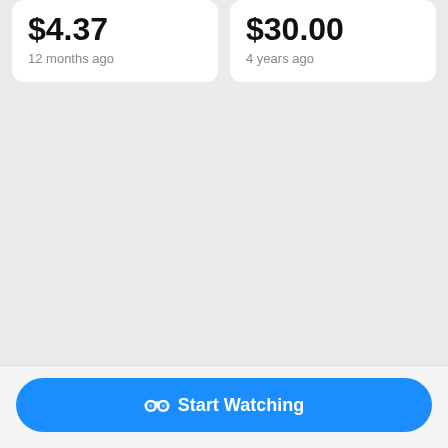$4.37
12 months ago
$30.00
4 years ago
Start Watching